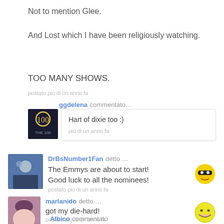Not to mention Glee.
And Lost which I have been religiously watching.
TOO MANY SHOWS.
postato più di un anno fa
ggdelena commentato…
Hart of dixie too :)
più di un anno fa
DrBsNumber1Fan detto …
The Emmys are about to start! Good luck to all the nominees!
postato più di un anno fa
marlanido detto …
got my die-hard!
postato più di un anno fa
Albico commentato